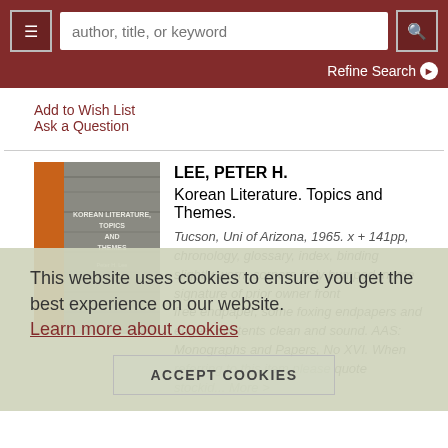author, title, or keyword — search bar with menu and search button; Refine Search
Add to Wish List
Ask a Question
[Figure (illustration): Book cover of Korean Literature. Topics and Themes, with orange spine and grey textured cover]
LEE, PETER H. Korean Literature. Topics and Themes. Tucson, Uni of Arizona, 1965. x + 141pp, chronology, glossary, index, binding slightly worn, corners frely bumped, name, signature of prior owner front free endpaper, some foxing endpapers and edges, contents clean and sound. AAS: Monographs and Papers, No XVI. When referring to this item please quote stockid... More >
This website uses cookies to ensure you get the best experience on our website. Learn more about cookies
ACCEPT COOKIES